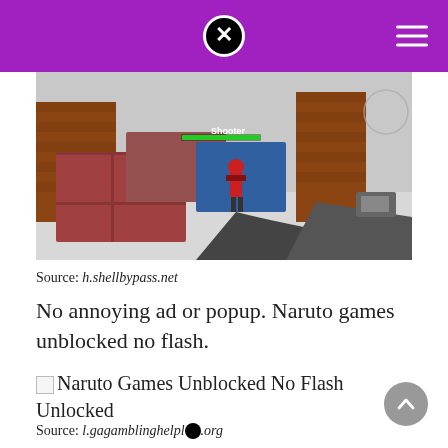[Figure (screenshot): First-person shooter game screenshot showing shipping containers, brick walls, and an enemy player with a green health bar labeled 'Shooter'. Player is holding a rifle in the foreground.]
Source: h.shellbypass.net
No annoying ad or popup. Naruto games unblocked no flash.
[Figure (illustration): Broken image placeholder for Naruto Games Unblocked No Flash Unlocked]
Source: l.gagamblinghelpl[icon].org